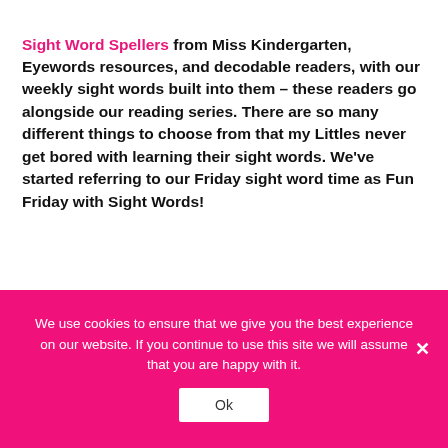Sight Word Spellers from Miss Kindergarten, Eyewords resources, and decodable readers, with our weekly sight words built into them – these readers go alongside our reading series. There are so many different things to choose from that my Littles never get bored with learning their sight words. We've started referring to our Friday sight word time as Fun Friday with Sight Words!
We use cookies to ensure that we give you the best experience on our website. If you continue to use this site we will assume that you are happy with it.